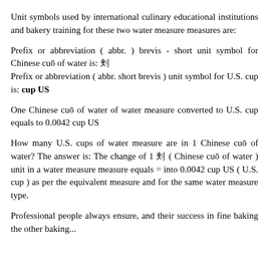Unit symbols used by international culinary educational institutions and bakery training for these two water measure measures are:
Prefix or abbreviation ( abbr. ) brevis - short unit symbol for Chinese cuō of water is: 刮
Prefix or abbreviation ( abbr. short brevis ) unit symbol for U.S. cup is: cup US
One Chinese cuō of water of water measure converted to U.S. cup equals to 0.0042 cup US
How many U.S. cups of water measure are in 1 Chinese cuō of water? The answer is: The change of 1 刮 ( Chinese cuō of water ) unit in a water measure measure equals = into 0.0042 cup US ( U.S. cup ) as per the equivalent measure and for the same water measure type.
Professional people always ensure, and their success in fine baking the other baking...